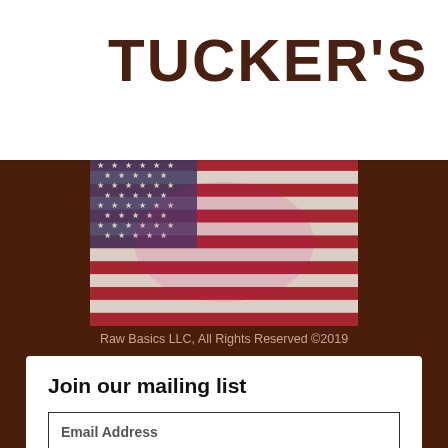TUCKER'S
[Figure (illustration): American flag artwork with distressed/rustic style on dark brown background]
Raw Basics LLC, All Rights Reserved ©2019
Join our mailing list
Email Address
Subscribe Now
Follow us
[Figure (infographic): Social media icons: Facebook, Instagram, Twitter, LinkedIn]